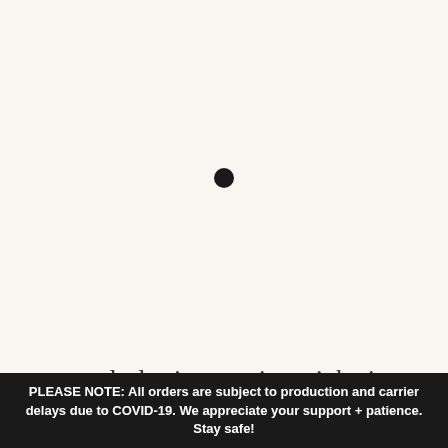[Figure (other): A single black filled circle (dot) centered on a light cream background, likely a loading indicator or decorative element.]
currently loving: spring picks in home, fashion, and accessories
PLEASE NOTE: All orders are subject to production and carrier delays due to COVID-19. We appreciate your support + patience. Stay safe!